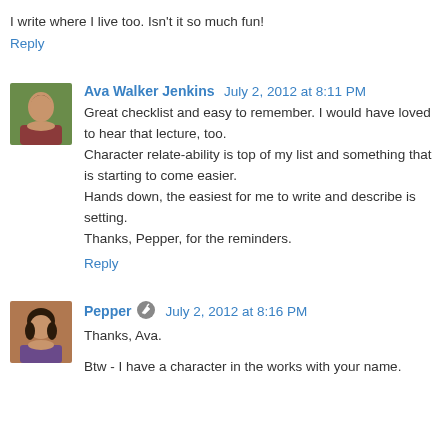I write where I live too. Isn't it so much fun!
Reply
Ava Walker Jenkins  July 2, 2012 at 8:11 PM
Great checklist and easy to remember. I would have loved to hear that lecture, too.
Character relate-ability is top of my list and something that is starting to come easier.
Hands down, the easiest for me to write and describe is setting.
Thanks, Pepper, for the reminders.
Reply
Pepper  July 2, 2012 at 8:16 PM
Thanks, Ava.
Btw - I have a character in the works with your name.